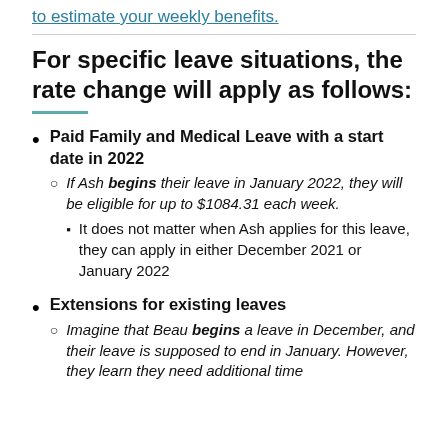to estimate your weekly benefits.
For specific leave situations, the rate change will apply as follows:
Paid Family and Medical Leave with a start date in 2022
If Ash begins their leave in January 2022, they will be eligible for up to $1084.31 each week.
It does not matter when Ash applies for this leave, they can apply in either December 2021 or January 2022
Extensions for existing leaves
Imagine that Beau begins a leave in December, and their leave is supposed to end in January. However, they learn they need additional time